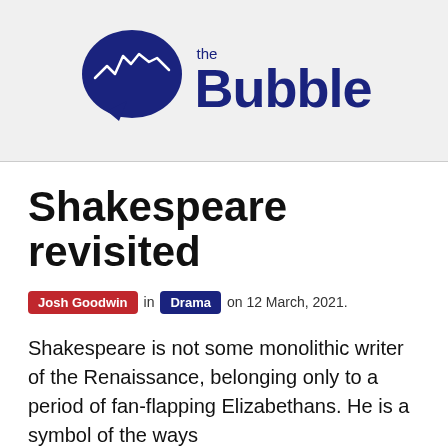[Figure (logo): The Bubble logo: dark navy speech bubble with a zigzag chart line inside, followed by 'the Bubble' text in dark navy]
Shakespeare revisited
Josh Goodwin in Drama on 12 March, 2021.
Shakespeare is not some monolithic writer of the Renaissance, belonging only to a period of fan-flapping Elizabethans. He is a symbol of the ways